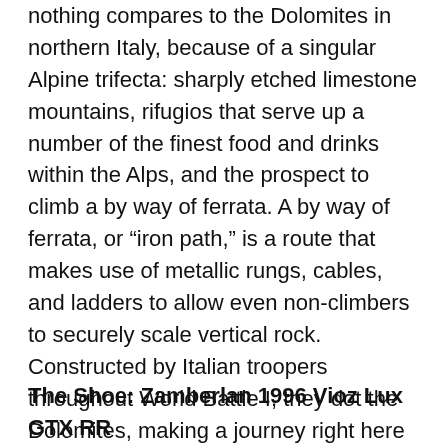nothing compares to the Dolomites in northern Italy, because of a singular Alpine trifecta: sharply etched limestone mountains, rifugios that serve up a number of the finest food and drinks within the Alps, and the prospect to climb a by way of ferrata. A by way of ferrata, or “iron path,” is a route that makes use of metallic rungs, cables, and ladders to allow even non-climbers to securely scale vertical rock. Constructed by Italian troopers throughout World Battle I, they dot the Dolomites, making a journey right here a choose-your-own-adventure of traditional trekking and heart-pumping climbing. You may hike for as little as a couple of days to so long as two weeks; the most effective wager for knowledgeable hikers is the 112-mile Alta Through 2, which is longer and a tad more thrilling than the better-known Alta Through 1. Want somewhat visible convincing? Try this time-lapse video.
The Shoe: Zamberlan 1996 Vioz Lux GTX RR